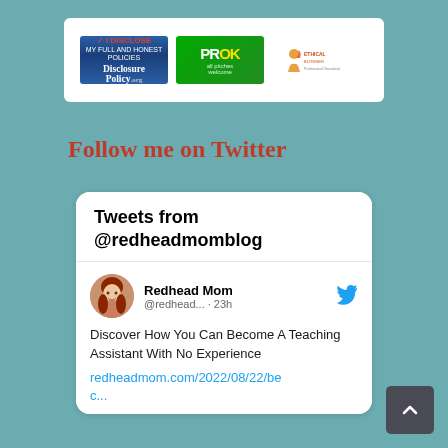[Figure (logo): Three badges: DisclosurePolicy.org 'I Disclose' badge, PROK 'all pitches welcome' green badge, and Ethical Blogger badge]
Follow me on Twitter
[Figure (screenshot): Twitter widget showing 'Tweets from @redheadmomblog' with a tweet by Redhead Mom (@redhead...) posted 23h ago: 'Discover How You Can Become A Teaching Assistant With No Experience' with link redheadmom.com/2022/08/22/bec...]